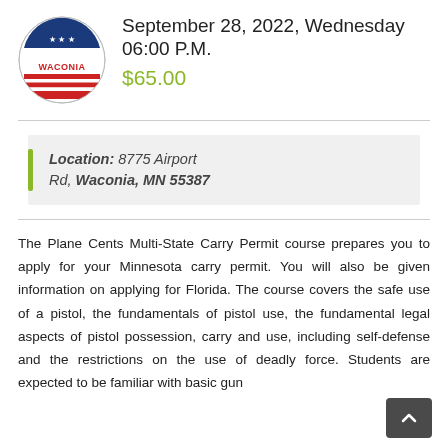[Figure (logo): Conceal & Carry Multi-State Waconia circular logo with stars and stripes]
September 28, 2022, Wednesday 06:00 P.M.
$65.00
Location: 8775 Airport Rd, Waconia, MN 55387
The Plane Cents Multi-State Carry Permit course prepares you to apply for your Minnesota carry permit. You will also be given information on applying for Florida. The course covers the safe use of a pistol, the fundamentals of pistol use, the fundamental legal aspects of pistol possession, carry and use, including self-defense and the restrictions on the use of deadly force. Students are expected to be familiar with basic gun